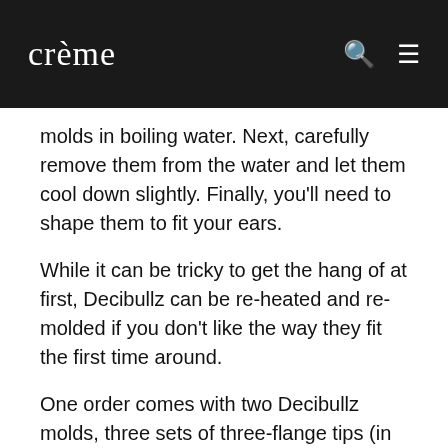crème
molds in boiling water. Next, carefully remove them from the water and let them cool down slightly. Finally, you'll need to shape them to fit your ears.
While it can be tricky to get the hang of at first, Decibullz can be re-heated and re-molded if you don't like the way they fit the first time around.
One order comes with two Decibullz molds, three sets of three-flange tips (in sizes small, medium and large), one set of maximum protection foam tips and a carrying pouch for your plugs. We love that they provide different sized tips to make sure you get the best comfort possible.
It doesn't impact the noise cancelling qualities, but you can buy these earplugs in five different colours. It certainly